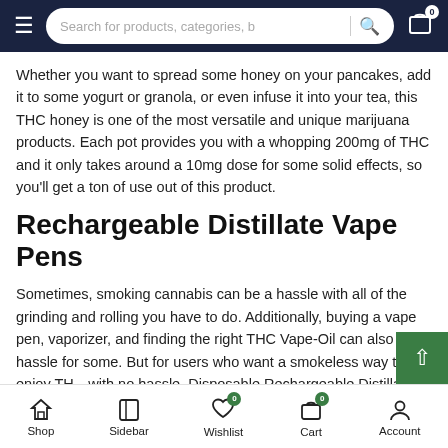Search for products, categories, b
Whether you want to spread some honey on your pancakes, add it to some yogurt or granola, or even infuse it into your tea, this THC honey is one of the most versatile and unique marijuana products. Each pot provides you with a whopping 200mg of THC and it only takes around a 10mg dose for some solid effects, so you'll get a ton of use out of this product.
Rechargeable Distillate Vape Pens
Sometimes, smoking cannabis can be a hassle with all of the grinding and rolling you have to do. Additionally, buying a vape pen, vaporizer, and finding the right THC Vape-Oil can also be a hassle for some. But for users who want a smokeless way to enjoy THC with no hassle, Disposable Rechargeable Distillate Vape Pens perfect.
Shop  Sidebar  Wishlist 0  Cart 0  Account